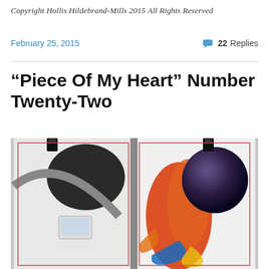Copyright Hollis Hildebrand-Mills 2015 All Rights Reserved
February 25, 2015
22 Replies
“Piece Of My Heart” Number Twenty-Two
[Figure (photo): Open book or binder with artwork showing a colorful abstract illustration on the right page — featuring a large dark sphere, orange and red flowing forms, blue and yellow splashes — and a black-and-white photographic collage on the left page with circular/mechanical elements and a small monitor or device. Binder clips visible at top.]